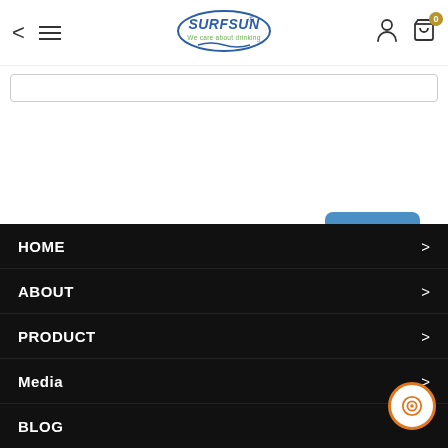SURFSUN - We care about drinking
[Figure (screenshot): Search input field (empty)]
[Figure (screenshot): Send button (blue rounded rectangle)]
HOME >
ABOUT >
PRODUCT >
Media >
BLOG >